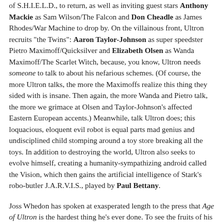of S.H.I.E.L.D., to return, as well as inviting guest stars Anthony Mackie as Sam Wilson/The Falcon and Don Cheadle as James Rhodes/War Machine to drop by. On the villainous front, Ultron recruits "the Twins": Aaron Taylor-Johnson as super speedster Pietro Maximoff/Quicksilver and Elizabeth Olsen as Wanda Maximoff/The Scarlet Witch, because, you know, Ultron needs someone to talk to about his nefarious schemes. (Of course, the more Ultron talks, the more the Maximoffs realize this thing they sided with is insane. Then again, the more Wanda and Pietro talk, the more we grimace at Olsen and Taylor-Johnson's affected Eastern European accents.) Meanwhile, talk Ultron does; this loquacious, eloquent evil robot is equal parts mad genius and undisciplined child stomping around a toy store breaking all the toys. In addition to destroying the world, Ultron also seeks to evolve himself, creating a humanity-sympathizing android called the Vision, which then gains the artificial intelligence of Stark's robo-butler J.A.R.V.I.S., played by Paul Bettany.
Joss Whedon has spoken at exasperated length to the press that Age of Ultron is the hardest thing he's ever done. To see the fruits of his labors here is to understand exactly what he